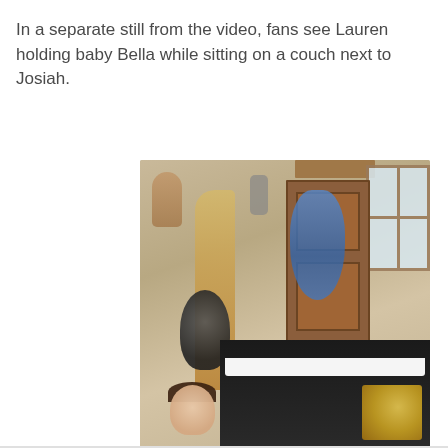In a separate still from the video, fans see Lauren holding baby Bella while sitting on a couch next to Josiah.
[Figure (photo): A blurry still from a video showing a room with musical instruments hanging on the wall including what appears to be a harp, blue guitar, and other instruments. A wooden door and window are visible on the right. Dark piano furniture is in the foreground bottom. A person's head (Lauren) is partially visible at the bottom left of the image.]